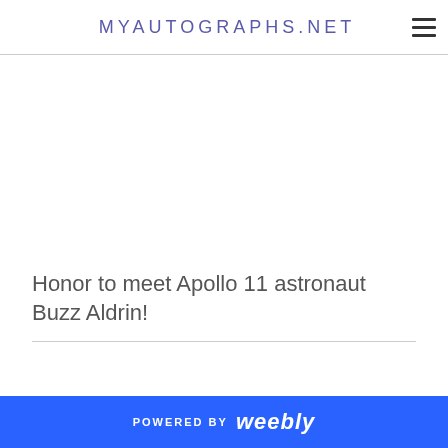MYAUTOGRAPHS.NET
Honor to meet Apollo 11 astronaut Buzz Aldrin!
POWERED BY weebly